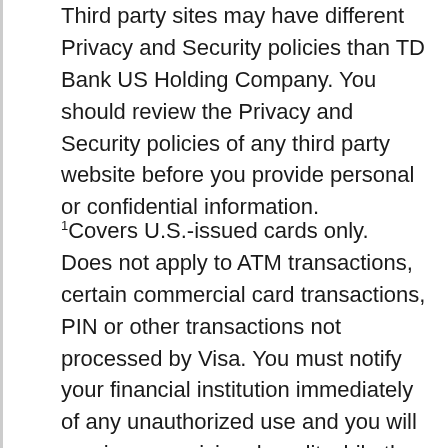Third party sites may have different Privacy and Security policies than TD Bank US Holding Company. You should review the Privacy and Security policies of any third party website before you provide personal or confidential information.
1Covers U.S.-issued cards only. Does not apply to ATM transactions, certain commercial card transactions, PIN or other transactions not processed by Visa. You must notify your financial institution immediately of any unauthorized use and you will receive a provisional credit while the fraud investigation is completed. For specific restrictions, limitations and other details,